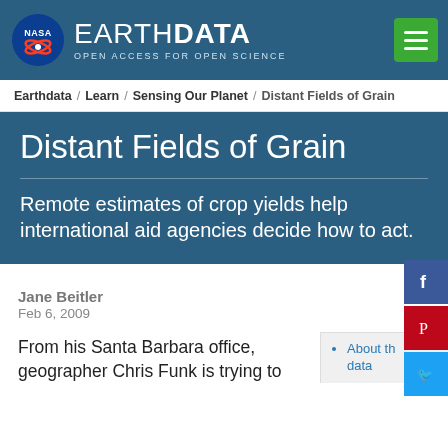NASA EARTHDATA OPEN ACCESS FOR OPEN SCIENCE
Earthdata / Learn / Sensing Our Planet / Distant Fields of Grain
Distant Fields of Grain
Remote estimates of crop yields help international aid agencies decide how to act.
Jane Beitler
Feb 6, 2009
From his Santa Barbara office, geographer Chris Funk is trying to
About the data